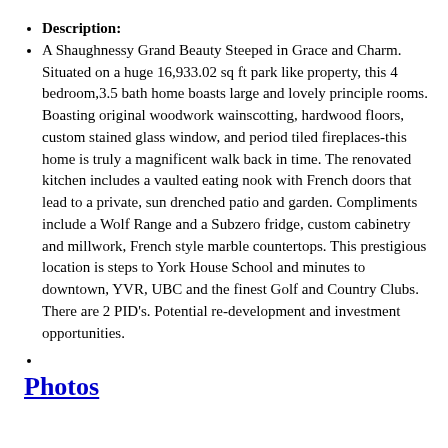Description:
A Shaughnessy Grand Beauty Steeped in Grace and Charm. Situated on a huge 16,933.02 sq ft park like property, this 4 bedroom,3.5 bath home boasts large and lovely principle rooms. Boasting original woodwork wainscotting, hardwood floors, custom stained glass window, and period tiled fireplaces-this home is truly a magnificent walk back in time. The renovated kitchen includes a vaulted eating nook with French doors that lead to a private, sun drenched patio and garden. Compliments include a Wolf Range and a Subzero fridge, custom cabinetry and millwork, French style marble countertops. This prestigious location is steps to York House School and minutes to downtown, YVR, UBC and the finest Golf and Country Clubs. There are 2 PID's. Potential re-development and investment opportunities.
Photos